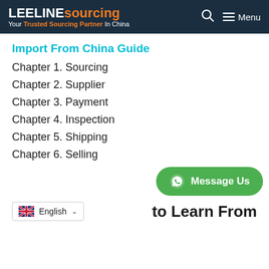LEELINE sourcing — Your Trusted Sourcing Partner In China | Menu
Import From China Guide
Chapter 1. Sourcing
Chapter 2. Supplier
Chapter 3. Payment
Chapter 4. Inspection
Chapter 5. Shipping
Chapter 6. Selling
[Figure (other): Green WhatsApp Message Us button with WhatsApp icon]
English (language selector dropdown)
to Learn From